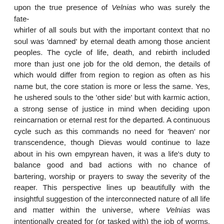upon the true presence of Velnias who was surely the fate-whirler of all souls but with the important context that no soul was 'damned' by eternal death among those ancient peoples. The cycle of life, death, and rebirth included more than just one job for the old demon, the details of which would differ from region to region as often as his name but, the core station is more or less the same. Yes, he ushered souls to the 'other side' but with karmic action, a strong sense of justice in mind when deciding upon reincarnation or eternal rest for the departed. A continuous cycle such as this commands no need for 'heaven' nor transcendence, though Dievas would continue to laze about in his own empyrean haven, it was a life's duty to balance good and bad actions with no chance of bartering, worship or prayers to sway the severity of the reaper. This perspective lines up beautifully with the insightful suggestion of the interconnected nature of all life and matter within the universe, where Velnias was intentionally created for (or tasked with) the job of worms, dirt and legacy. Depicted as clumsy idiots more often than